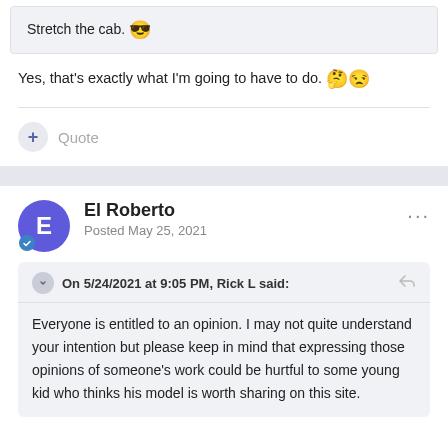Stretch the cab. 😎
Yes, that's exactly what I'm going to have to do. 🤔😒
Quote
El Roberto
Posted May 25, 2021
On 5/24/2021 at 9:05 PM, Rick L said:
Everyone is entitled to an opinion. I may not quite understand your intention but please keep in mind that expressing those opinions of someone's work could be hurtful to some young kid who thinks his model is worth sharing on this site.